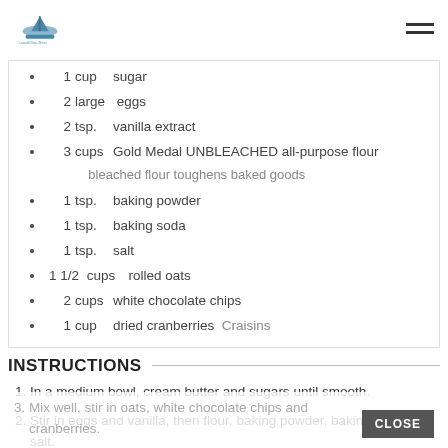Logo and hamburger menu
1   cup    sugar
2   large   eggs
2   tsp.   vanilla extract
3   cups    Gold Medal UNBLEACHED all-purpose flour  bleached flour toughens baked goods
1   tsp.   baking powder
1   tsp.   baking soda
1   tsp.   salt
1 1/2   cups    rolled oats
2   cups   white chocolate chips
1   cup   dried cranberries   Craisins
INSTRUCTIONS
In a medium bowl, cream butter and sugars until smooth.
Stir in eggs and vanilla, then flour, baking powder, baking soda and salt.
Mix well, stir in oats, white chocolate chips and cranberries.